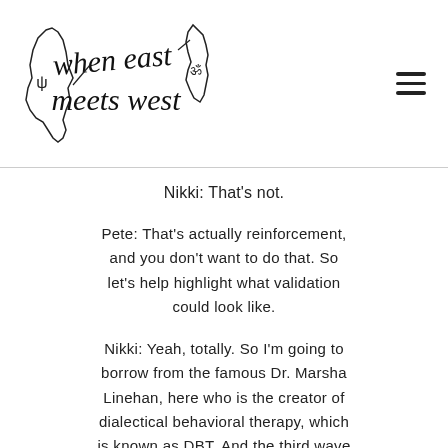[Figure (logo): When East Meets West podcast logo with state outlines and cursive handwriting text]
Nikki: That's not.
Pete: That's actually reinforcement, and you don't want to do that. So let's help highlight what validation could look like.
Nikki: Yeah, totally. So I'm going to borrow from the famous Dr. Marsha Linehan, here who is the creator of dialectical behavioral therapy, which is known as DBT. And the third wave behavioral therapy family and validation. She does some great worksheets, if you're looking for something, you can check...